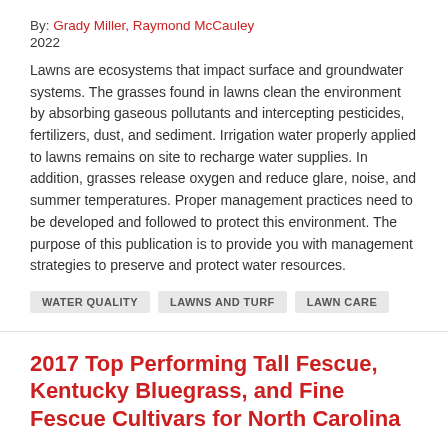By: Grady Miller, Raymond McCauley
2022
Lawns are ecosystems that impact surface and groundwater systems. The grasses found in lawns clean the environment by absorbing gaseous pollutants and intercepting pesticides, fertilizers, dust, and sediment. Irrigation water properly applied to lawns remains on site to recharge water supplies. In addition, grasses release oxygen and reduce glare, noise, and summer temperatures. Proper management practices need to be developed and followed to protect this environment. The purpose of this publication is to provide you with management strategies to preserve and protect water resources.
WATER QUALITY
LAWNS AND TURF
LAWN CARE
2017 Top Performing Tall Fescue, Kentucky Bluegrass, and Fine Fescue Cultivars for North Carolina